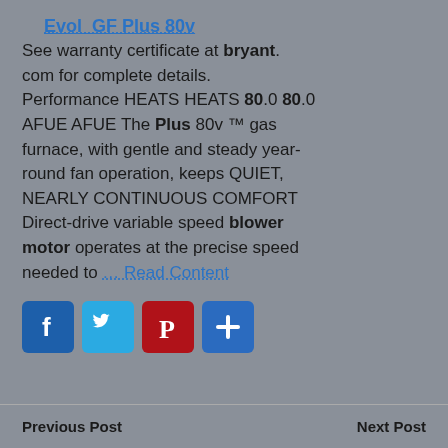Evol_GF Plus 80v
See warranty certificate at bryant.com for complete details. Performance HEATS HEATS 80.0 80.0 AFUE AFUE The Plus 80v ™ gas furnace, with gentle and steady year-round fan operation, keeps QUIET, NEARLY CONTINUOUS COMFORT Direct-drive variable speed blower motor operates at the precise speed needed to … Read Content
[Figure (infographic): Social sharing icons: Facebook (blue), Twitter (light blue), Pinterest (red), and a plus/share button (blue)]
Previous Post    Next Post